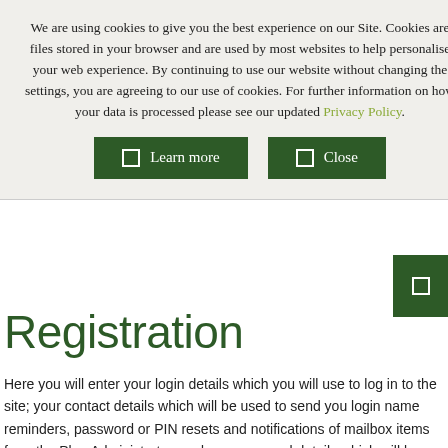We are using cookies to give you the best experience on our Site. Cookies are files stored in your browser and are used by most websites to help personalise your web experience. By continuing to use our website without changing the settings, you are agreeing to our use of cookies. For further information on how your data is processed please see our updated Privacy Policy.
Learn more | Close
Registration
Here you will enter your login details which you will use to log in to the site; your contact details which will be used to send you login name reminders, password or PIN resets and notifications of mailbox items from the Plan Administrator; and your personal details which will be used to identify your pensions record.
As a security measure, you will be sent an additional Personal